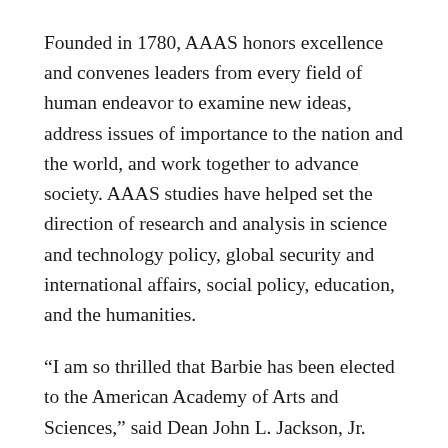Founded in 1780, AAAS honors excellence and convenes leaders from every field of human endeavor to examine new ideas, address issues of importance to the nation and the world, and work together to advance society. AAAS studies have helped set the direction of research and analysis in science and technology policy, global security and international affairs, social policy, education, and the humanities.
“I am so thrilled that Barbie has been elected to the American Academy of Arts and Sciences,” said Dean John L. Jackson, Jr. “She is a world-renowned scholar of cultural studies, journalism, and collective memory as well as a preeminent thinker and leader in the field of Communication. This honor is richly deserved, and we are so proud to have her as a colleague here at